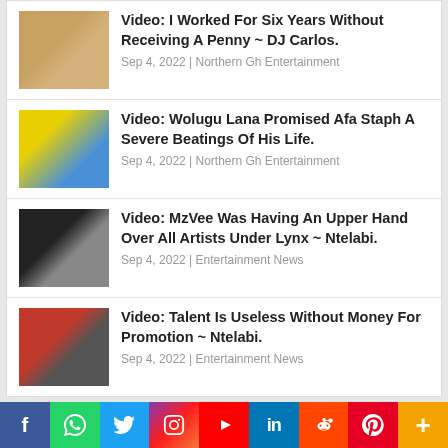Video: I Worked For Six Years Without Receiving A Penny ~ DJ Carlos. Sep 4, 2022 | Northern Gh Entertainment
Video: Wolugu Lana Promised Afa Staph A Severe Beatings Of His Life. Sep 4, 2022 | Northern Gh Entertainment
Video: MzVee Was Having An Upper Hand Over All Artists Under Lynx ~ Ntelabi. Sep 4, 2022 | Entertainment News
Video: Talent Is Useless Without Money For Promotion ~ Ntelabi. Sep 4, 2022 | Entertainment News